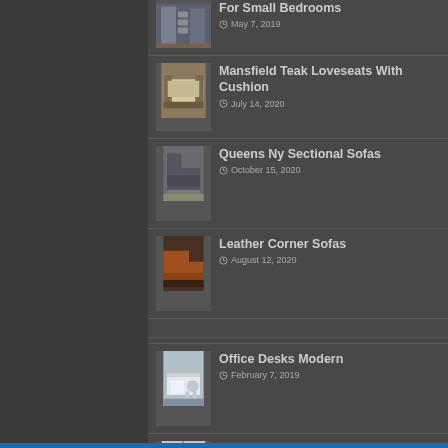For Small Bedrooms
May 7, 2019
Mansfield Teak Loveseats With Cushion
July 14, 2020
Queens Ny Sectional Sofas
October 15, 2020
Leather Corner Sofas
August 12, 2020
Office Desks Modern
February 7, 2019
Chandeliers For Bathrooms
September 7, 2020